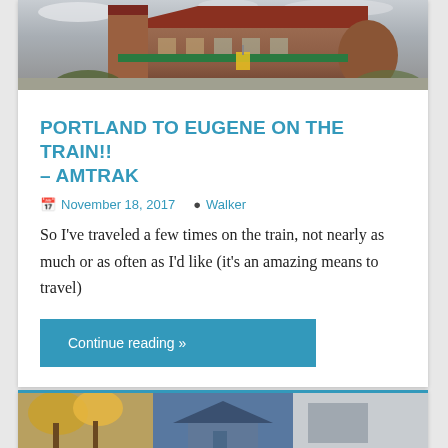[Figure (photo): Exterior photo of a large brick/stone building with a reddish-brown roof, green awnings, and a yellow pedestrian crossing sign in the foreground. Cloudy sky in background.]
PORTLAND TO EUGENE ON THE TRAIN!! – AMTRAK
November 18, 2017   Walker
So I've traveled a few times on the train, not nearly as much or as often as I'd like (it's an amazing means to travel)
Continue reading »
[Figure (photo): Partial view of two photos at the bottom of the page, partially cut off.]